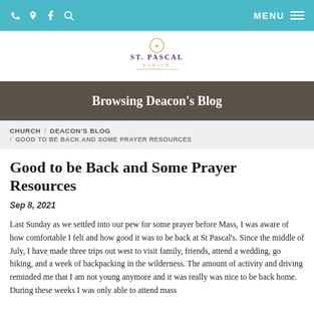Nav bar with phone, location, facebook, search icons and MENU
[Figure (logo): St. Pascal Parish logo with crown emblem and text 'St. Pascal' in purple and gold]
Browsing Deacon's Blog
CHURCH / DEACON'S BLOG / GOOD TO BE BACK AND SOME PRAYER RESOURCES
Good to be Back and Some Prayer Resources
Sep 8, 2021
Last Sunday as we settled into our pew for some prayer before Mass, I was aware of how comfortable I felt and how good it was to be back at St Pascal's. Since the middle of July, I have made three trips out west to visit family, friends, attend a wedding, go hiking, and a week of backpacking in the wilderness. The amount of activity and driving reminded me that I am not young anymore and it was really was nice to be back home. During these weeks I was only able to attend mass